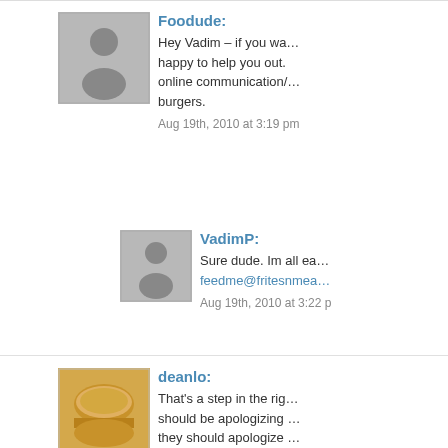Foodude: Hey Vadim – if you wa… happy to help you out. online communication/… burgers. Aug 19th, 2010 at 3:19 pm
VadimP: Sure dude. Im all ea… feedme@fritesnmea… Aug 19th, 2010 at 3:22 p
deanlo: That's a step in the rig… should be apologizing … they should apologize … lame. You guys have each ot… each other on twitter…. out in advance someh… Aug 19th, 2010 at 5:17 pm